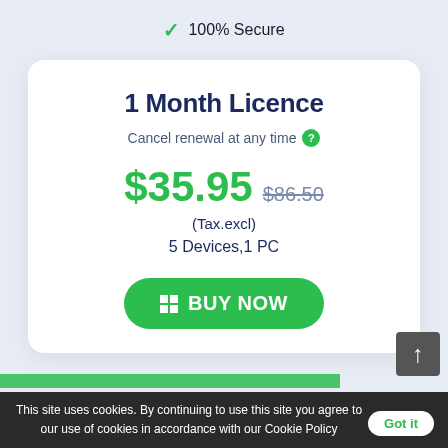✓ 100% Secure
1 Month Licence
Cancel renewal at any time ?
$35.95  $86.50
(Tax.excl)
5 Devices,1 PC
BUY NOW
This site uses cookies. By continuing to use this site you agree to our use of cookies in accordance with our Cookie Policy  Got it